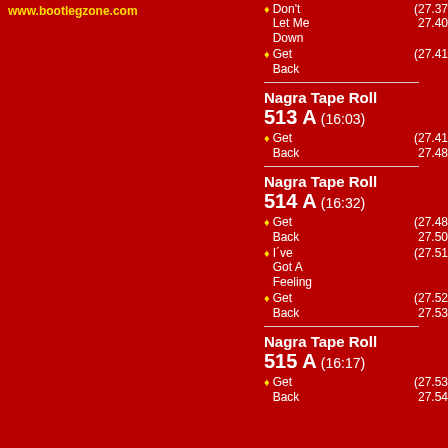www.bootlegzone.com
♦ Don't Let Me Down (27.37-27.40)
♦ Get Back (27.41)
Nagra Tape Roll 513 A (16:03)
♦ Get Back (27.41-27.48)
Nagra Tape Roll 514 A (16:32)
♦ Get Back (27.48-27.50)
♦ I´ve Got A Feeling (27.51)
♦ Get Back (27.52-27.53)
Nagra Tape Roll 515 A (16:17)
♦ Get Back (27.53-27.54)